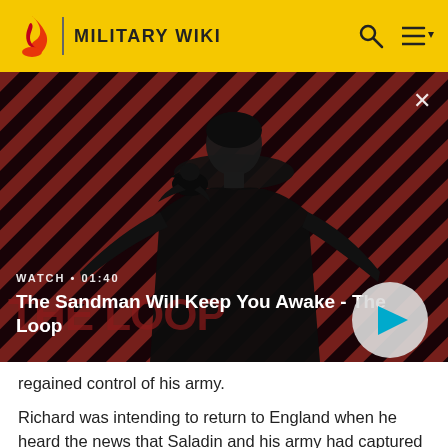MILITARY WIKI
[Figure (screenshot): Video thumbnail for 'The Sandman Will Keep You Awake - The Loop' showing a dark-clothed figure with a raven on shoulder against red diagonal striped background. Shows WATCH • 01:40 label and a play button.]
WATCH • 01:40
The Sandman Will Keep You Awake - The Loop
regained control of his army.
Richard was intending to return to England when he heard the news that Saladin and his army had captured Jaffa. Richard and a small force of 2000 men went to Jaffa by sea in a surprise attack. In the subsequent Battle of Jaffa